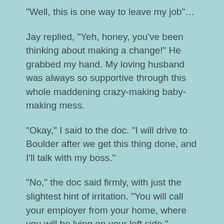“Well, this is one way to leave my job”…
Jay replied, “Yeh, honey, you’ve been thinking about making a change!” He grabbed my hand. My loving husband was always so supportive through this whole maddening crazy-making baby-making mess.
“Okay,” I said to the doc. “I will drive to Boulder after we get this thing done, and I’ll talk with my boss.”
“No,” the doc said firmly, with just the slightest hint of irritation. “You will call your employer from your home, where you will be lying on your left side.”
I felt like the already darkened room was